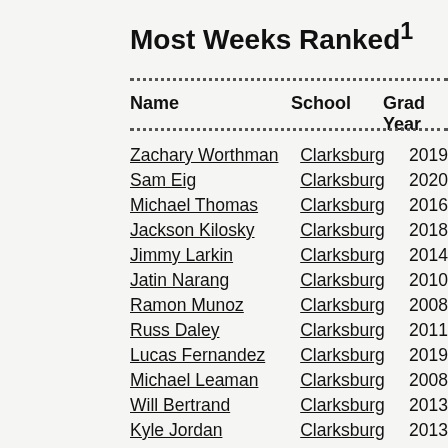Most Weeks Ranked¹
| Name | School | Grad Year |
| --- | --- | --- |
| Zachary Worthman | Clarksburg | 2019 |
| Sam Eig | Clarksburg | 2020 |
| Michael Thomas | Clarksburg | 2016 |
| Jackson Kilosky | Clarksburg | 2018 |
| Jimmy Larkin | Clarksburg | 2014 |
| Jatin Narang | Clarksburg | 2010 |
| Ramon Munoz | Clarksburg | 2008 |
| Russ Daley | Clarksburg | 2011 |
| Lucas Fernandez | Clarksburg | 2019 |
| Michael Leaman | Clarksburg | 2008 |
| Will Bertrand | Clarksburg | 2013 |
| Kyle Jordan | Clarksburg | 2013 |
| Mir Pandya | Clarksburg | 2016 |
| Jonathan Botello | Clarksburg | 2018 |
| JamesClick | Clarksburg | 2015 |